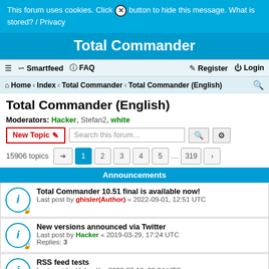This forum uses cookies. Click [x] button to hide this message. What is stored? / Privacy
Total Commander
≡ Smartfeed ? FAQ  Register  Login
Home › Index › Total Commander › Total Commander (English)
Total Commander (English)
Moderators: Hacker, Stefan2, white
New Topic  Search this forum…
15906 topics  1 2 3 4 5 ... 319 ›
Announcements
Total Commander 10.51 final is available now! Last post by ghisler(Author) « 2022-09-01, 12:51 UTC
New versions announced via Twitter Last post by Hacker « 2019-03-29, 17:24 UTC Replies: 3
RSS feed tests Last post by HolgerK « 2022-07-19, 20:24 UTC